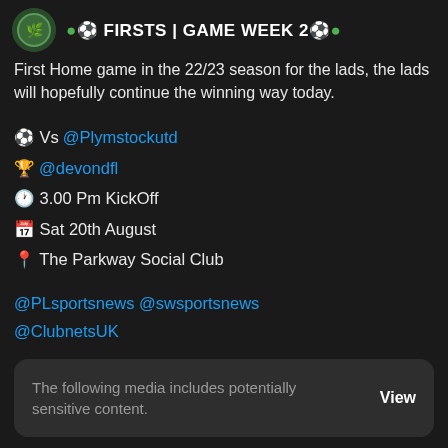FIRSTS | GAME WEEK 2
First Home game in the 22/23 season for the lads, the lads will hopefully continue the winning way today.
⚽ Vs @Plymstockutd
🏆 @devondfl
🕐 3.00 Pm KickOff
📅 Sat 20th August
📍 The Parkway Social Club
@PLsportsnews @swsportsnews @ClubnetsUK
The following media includes potentially sensitive content. View
1 reply, 6 likes
SPORTS GAZ... @SportsPly... · Aug 20 — Plympton Victoria in positive mood ahead of the